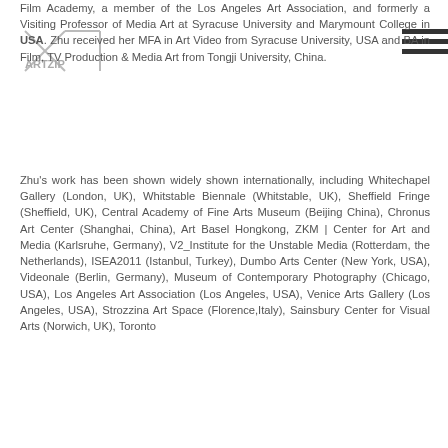Film Academy, a member of the Los Angeles Art Association, and formerly a Visiting Professor of Media Art at Syracuse University and Marymount College in USA. Zhu received her MFA in Art Video from Syracuse University, USA and BA in Film, TV Production & Media Art from Tongji University, China.
Zhu's work has been shown widely shown internationally, including Whitechapel Gallery (London, UK), Whitstable Biennale (Whitstable, UK), Sheffield Fringe (Sheffield, UK), Central Academy of Fine Arts Museum (Beijing China), Chronus Art Center (Shanghai, China), Art Basel Hongkong, ZKM | Center for Art and Media (Karlsruhe, Germany), V2_Institute for the Unstable Media (Rotterdam, the Netherlands), ISEA2011 (Istanbul, Turkey), Dumbo Arts Center (New York, USA), Videonale (Berlin, Germany), Museum of Contemporary Photography (Chicago, USA), Los Angeles Art Association (Los Angeles, USA), Venice Arts Gallery (Los Angeles, USA), Strozzina Art Space (Florence,Italy), Sainsbury Center for Visual Arts (Norwich, UK), Toronto